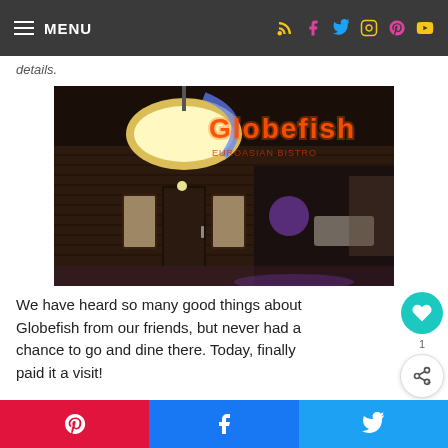MENU
details.
[Figure (photo): Exterior night photo of Globefish restaurant with illuminated neon sign and overhead round light fixture]
We have heard so many good things about Globefish from our friends, but never had a chance to go and dine there. Today, finally paid it a visit!
[Figure (photo): Partial interior photo of Globefish restaurant showing ceiling lights in dark setting]